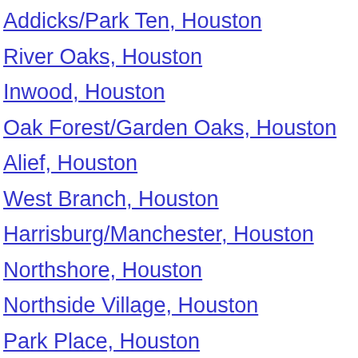Addicks/Park Ten, Houston
River Oaks, Houston
Inwood, Houston
Oak Forest/Garden Oaks, Houston
Alief, Houston
West Branch, Houston
Harrisburg/Manchester, Houston
Northshore, Houston
Northside Village, Houston
Park Place, Houston
Greenway, Houston
East Little York/Homestead, Houston
South Main, Houston